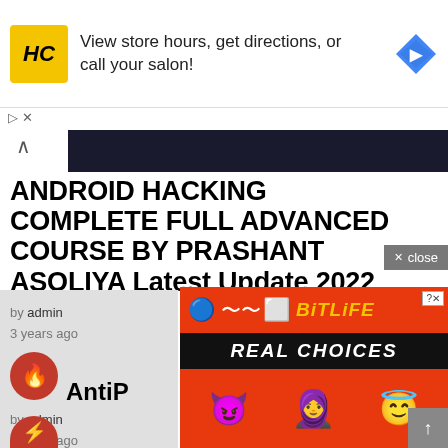[Figure (infographic): HC salon ad banner with yellow HC logo, text 'View store hours, get directions, or call your salon!' and blue diamond map icon]
ANDROID HACKING COMPLETE FULL ADVANCED COURSE BY PRASHANT ASOLIYA Latest Update 2022
X close
by admin
3 years ago
AntiP
by admin
3 years ago
[Figure (infographic): BitLife app ad with orange/red background, sperm logo, 'REAL CHOICES' banner, cartoon girl holding devil and angel emojis]